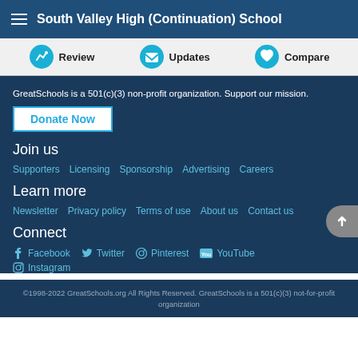South Valley High (Continuation) School
Review | Updates | Compare
GreatSchools is a 501(c)(3) non-profit organization. Support our mission.
Donate Now
Join us
Supporters
Licensing
Sponsorship
Advertising
Careers
Learn more
Newsletter
Privacy policy
Terms of use
About us
Contact us
Connect
Facebook
Twitter
Pinterest
YouTube
Instagram
©1998-2022 GreatSchools.org All Rights Reserved. GreatSchools is a 501(c)(3) not-for-profit organization